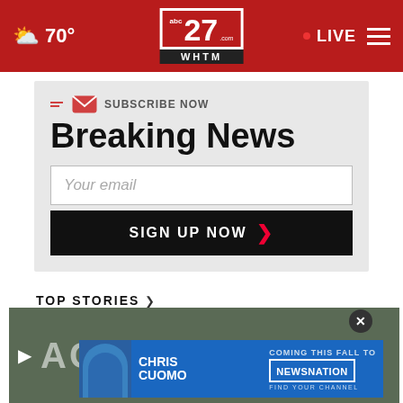70° | abc27 WHTM | LIVE
SUBSCRIBE NOW
Breaking News
Your email
SIGN UP NOW
TOP STORIES ›
[Figure (screenshot): News video thumbnail showing partial text 'ACE HAT' overlaid on road scene, with a play button]
[Figure (advertisement): Chris Cuomo - Coming This Fall to NewsNation - Find Your Channel ad banner in blue]